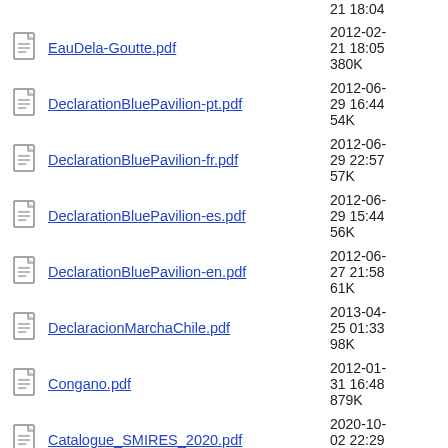EauDela-Goutte.pdf  2012-02-21 18:05  380K
DeclarationBluePavilion-pt.pdf  2012-06-29 16:44  54K
DeclarationBluePavilion-fr.pdf  2012-06-29 22:57  57K
DeclarationBluePavilion-es.pdf  2012-06-29 15:44  56K
DeclarationBluePavilion-en.pdf  2012-06-27 21:58  61K
DeclaracionMarchaChile.pdf  2013-04-25 01:33  98K
Congano.pdf  2012-01-31 16:48  879K
Catalogue_SMIRES_2020.pdf  2020-10-02 22:29  40M
CartaAbiertaCaimanes.pdf  2012-09-23 09:40  68K
CaimanesFL.pdf  2012-09-11 23:04  405K
CaimanesFL-es.pdf  2012-09-12 00:01  416K